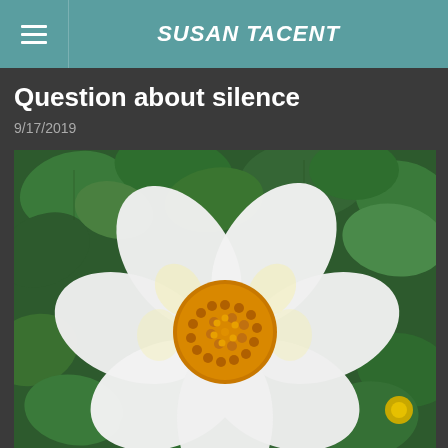SUSAN TACENT
Question about silence
9/17/2019
[Figure (photo): Close-up photograph of a white dahlia flower with a bright yellow-orange center, surrounded by green leafy foliage in the background.]